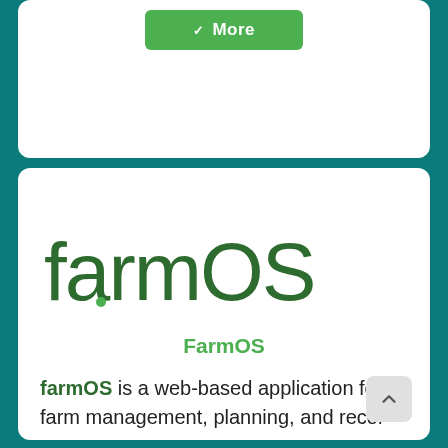[Figure (screenshot): Green 'More' button with downward chevron icon at top of white card]
[Figure (logo): farmOS logo in dark green rounded font]
FarmOS
farmOS is a web-based application for farm management, planning, and recor